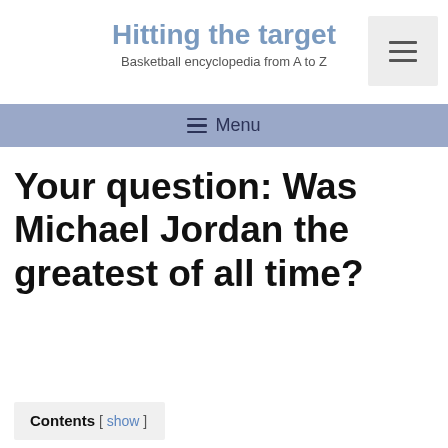Hitting the target
Basketball encyclopedia from A to Z
Your question: Was Michael Jordan the greatest of all time?
Contents [ show ]